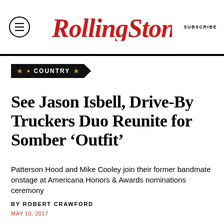Rolling Stone | SUBSCRIBE
[Figure (logo): Rolling Stone magazine logo in red italic serif font, with hamburger menu icon on left and SUBSCRIBE text on right]
★ COUNTRY ★
See Jason Isbell, Drive-By Truckers Duo Reunite for Somber ‘Outfit’
Patterson Hood and Mike Cooley join their former bandmate onstage at Americana Honors & Awards nominations ceremony
BY ROBERT CRAWFORD
MAY 10, 2017